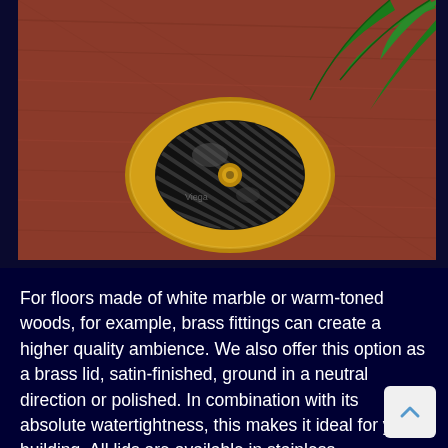[Figure (photo): Close-up photo of a brass circular floor drain fitting set into a warm reddish-brown wood floor, with green tropical plant leaves visible in the upper right corner. The brass lid has a cross-hatch pattern and appears polished/satin finished.]
For floors made of white marble or warm-toned woods, for example, brass fittings can create a higher quality ambience. We also offer this option as a brass lid, satin-finished, ground in a neutral direction or polished. In combination with its absolute watertightness, this makes it ideal for yacht building. All lids are available in stainless